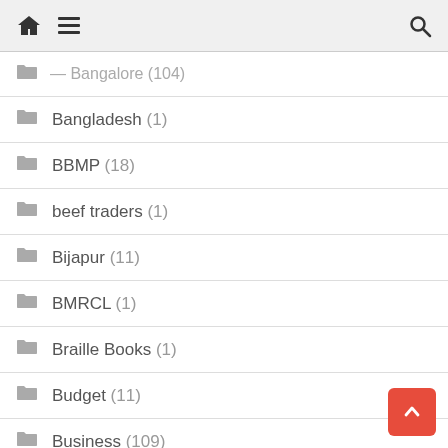Navigation header with home, menu, and search icons
Bangalore (104)
Bangladesh (1)
BBMP (18)
beef traders (1)
Bijapur (11)
BMRCL (1)
Braille Books (1)
Budget (11)
Business (109)
BWSSB (1)
BWSSB (1)
Capstone (174)